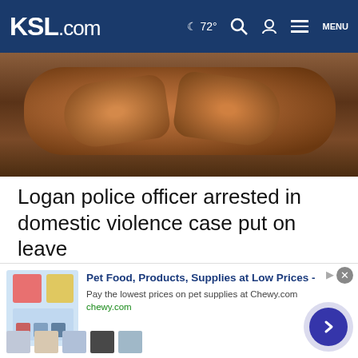KSL.com  ☾ 72°  🔍  👤  MENU
[Figure (photo): Close-up photo of a person's hands clasped together, handcuffed appearance, dark background]
Logan police officer arrested in domestic violence case put on leave
[Figure (other): Magenta/pink horizontal bar (UI element)]
Cookie Notice
We use cookies to improve your experience, analyze site traffic, and to personalize content and ads. By continuing to use our site, you consent to our use of cookies. Please visit our Terms of Use and  Privacy Policy for more information
[Figure (other): Advertisement banner for Chewy.com: Pet Food, Products, Supplies at Low Prices - Pay the lowest prices on pet supplies at Chewy.com, chewy.com]